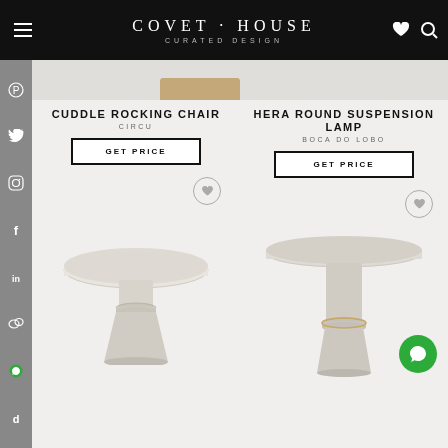COVET·HOUSE CURATED DESIGN
[Figure (screenshot): Covet House website header with logo, hamburger menu, heart icon, and search icon on black background]
[Figure (photo): Partial image of a furniture item at the top of the product listing]
CUDDLE ROCKING CHAIR
CIRCU
GET PRICE
HERA ROUND SUSPENSION LAMP
BOCA DO LOBO
GET PRICE
[Figure (photo): White marble round side table with cylindrical pedestal base - product image]
[Figure (photo): White marble side table with wider round top and tapered cylinder base - product image]